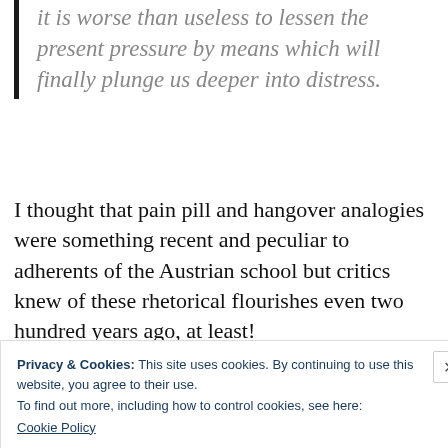it is worse than useless to lessen the present pressure by means which will finally plunge us deeper into distress.
I thought that pain pill and hangover analogies were something recent and peculiar to adherents of the Austrian school but critics knew of these rhetorical flourishes even two hundred years ago, at least!
On the topic of “flight to safety”, I did make
Privacy & Cookies: This site uses cookies. By continuing to use this website, you agree to their use.
To find out more, including how to control cookies, see here:
Cookie Policy